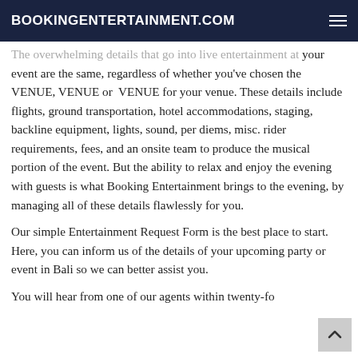BOOKINGENTERTAINMENT.COM
The overwhelming details that go into live entertainment at your event are the same, regardless of whether you've chosen the VENUE, VENUE or VENUE for your venue. These details include flights, ground transportation, hotel accommodations, staging, backline equipment, lights, sound, per diems, misc. rider requirements, fees, and an onsite team to produce the musical portion of the event. But the ability to relax and enjoy the evening with guests is what Booking Entertainment brings to the evening, by managing all of these details flawlessly for you.
Our simple Entertainment Request Form is the best place to start. Here, you can inform us of the details of your upcoming party or event in Bali so we can better assist you.
You will hear from one of our agents within twenty-fo...